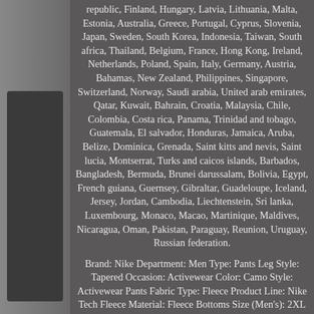[Figure (photo): Left side partial photo of a person wearing dark clothing, partially visible]
republic, Finland, Hungary, Latvia, Lithuania, Malta, Estonia, Australia, Greece, Portugal, Cyprus, Slovenia, Japan, Sweden, South Korea, Indonesia, Taiwan, South africa, Thailand, Belgium, France, Hong Kong, Ireland, Netherlands, Poland, Spain, Italy, Germany, Austria, Bahamas, New Zealand, Philippines, Singapore, Switzerland, Norway, Saudi arabia, United arab emirates, Qatar, Kuwait, Bahrain, Croatia, Malaysia, Chile, Colombia, Costa rica, Panama, Trinidad and tobago, Guatemala, El salvador, Honduras, Jamaica, Aruba, Belize, Dominica, Grenada, Saint kitts and nevis, Saint lucia, Montserrat, Turks and caicos islands, Barbados, Bangladesh, Bermuda, Brunei darussalam, Bolivia, Egypt, French guiana, Guernsey, Gibraltar, Guadeloupe, Iceland, Jersey, Jordan, Cambodia, Liechtenstein, Sri lanka, Luxembourg, Monaco, Macao, Martinique, Maldives, Nicaragua, Oman, Pakistan, Paraguay, Reunion, Uruguay, Russian federation.
Brand: Nike Department: Men Type: Pants Leg Style: Tapered Occasion: Activewear Color: Camo Style: Activewear Pants Fabric Type: Fleece Product Line: Nike Tech Fleece Material: Fleece Bottoms Size (Men's): 2XL Sub-Style: Jogger Size Type: Regular Pattern: Camouflage